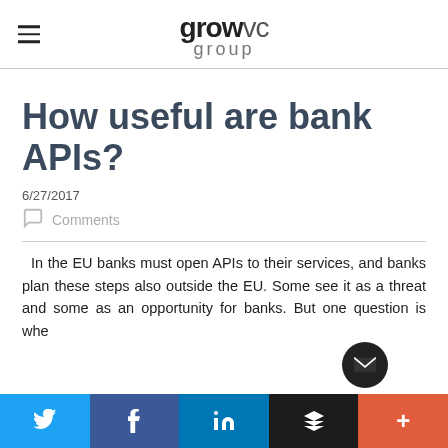grow vc group
How useful are bank APIs?
6/27/2017
Comments
In the EU banks must open APIs to their services, and banks plan these steps also outside the EU. Some see it as a threat and some as an opportunity for banks. But one question is whe